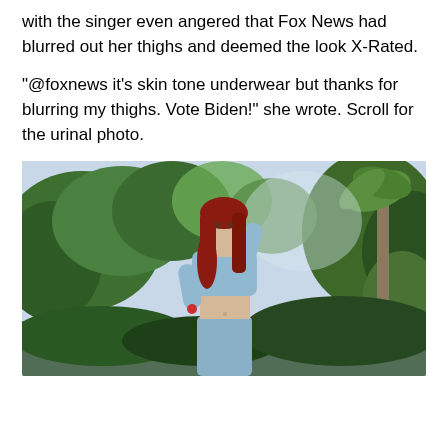with the singer even angered that Fox News had blurred out her thighs and deemed the look X-Rated.
“@foxnews it’s skin tone underwear but thanks for blurring my thighs. Vote Biden!” she wrote. Scroll for the urinal photo.
[Figure (photo): A young woman with long red hair wearing a light blue cropped top and matching pants, posing outdoors against a background of green trees and a palm tree.]